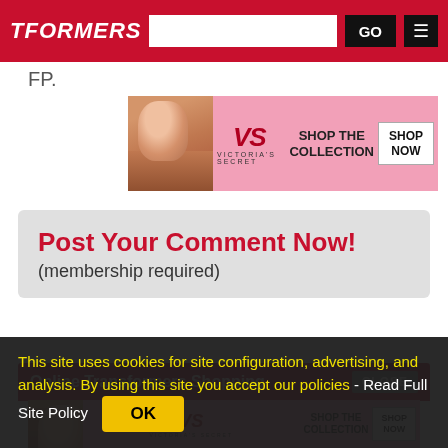TFORMERS | [search box] | GO | [menu]
FP.
[Figure (photo): Victoria's Secret advertisement banner: woman with curly hair, VS logo, 'SHOP THE COLLECTION', 'SHOP NOW' button on pink background]
Post Your Comment Now!
(membership required)
Online Transformers Shopping
[Figure (photo): Victoria's Secret advertisement banner (smaller): woman with curly hair, VS logo, 'SHOP THE COLLECTION', 'SHOP NOW' button on pink background]
This site uses cookies for site configuration, advertising, and analysis. By using this site you accept our policies - Read Full Site Policy   OK